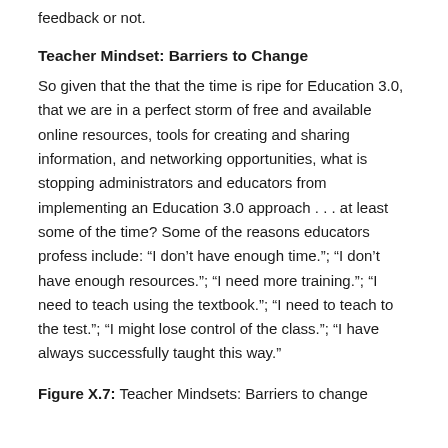feedback or not.
Teacher Mindset: Barriers to Change
So given that the that the time is ripe for Education 3.0, that we are in a perfect storm of free and available online resources, tools for creating and sharing information, and networking opportunities, what is stopping administrators and educators from implementing an Education 3.0 approach . . . at least some of the time? Some of the reasons educators profess include: “I don’t have enough time.”; “I don’t have enough resources.”; “I need more training.”; “I need to teach using the textbook.”; “I need to teach to the test.”; “I might lose control of the class.”; “I have always successfully taught this way.”
Figure X.7: Teacher Mindsets: Barriers to change